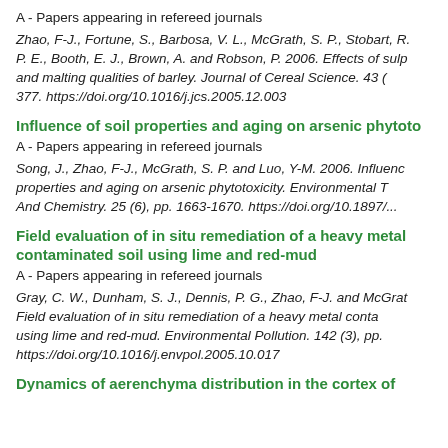A - Papers appearing in refereed journals
Zhao, F-J., Fortune, S., Barbosa, V. L., McGrath, S. P., Stobart, R. P. E., Booth, E. J., Brown, A. and Robson, P. 2006. Effects of sulphur and malting qualities of barley. Journal of Cereal Science. 43 (...), pp. 377. https://doi.org/10.1016/j.jcs.2005.12.003
Influence of soil properties and aging on arsenic phytoto...
A - Papers appearing in refereed journals
Song, J., Zhao, F-J., McGrath, S. P. and Luo, Y-M. 2006. Influence of soil properties and aging on arsenic phytotoxicity. Environmental Toxicology And Chemistry. 25 (6), pp. 1663-1670. https://doi.org/10.1897/...
Field evaluation of in situ remediation of a heavy metal contaminated soil using lime and red-mud
A - Papers appearing in refereed journals
Gray, C. W., Dunham, S. J., Dennis, P. G., Zhao, F-J. and McGrath... Field evaluation of in situ remediation of a heavy metal contaminated soil using lime and red-mud. Environmental Pollution. 142 (3), pp. ... https://doi.org/10.1016/j.envpol.2005.10.017
Dynamics of aerenchyma distribution in the cortex of...